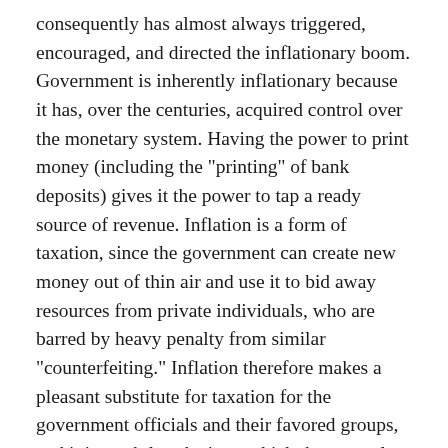consequently has almost always triggered, encouraged, and directed the inflationary boom. Government is inherently inflationary because it has, over the centuries, acquired control over the monetary system. Having the power to print money (including the "printing" of bank deposits) gives it the power to tap a ready source of revenue. Inflation is a form of taxation, since the government can create new money out of thin air and use it to bid away resources from private individuals, who are barred by heavy penalty from similar "counterfeiting." Inflation therefore makes a pleasant substitute for taxation for the government officials and their favored groups, and it is a subtle substitute which the general public can easily—and can be encouraged to—overlook. The government can also pin the blame for the rising prices, which are the inevitable consequence of inflation, upon the general public or some disliked segments of the public, e.g., business, speculators, foreigners. Only the unlikely adoption of sound economic doctrine could lead the public to pin the responsibility where it